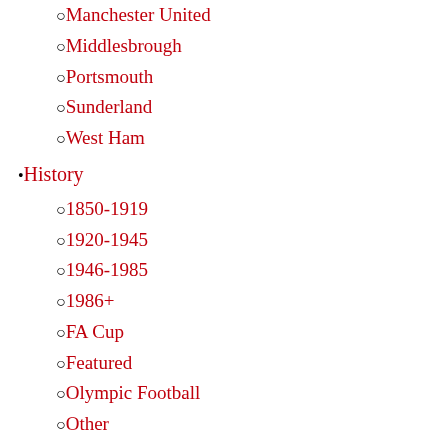Manchester United
Middlesbrough
Portsmouth
Sunderland
West Ham
History
1850-1919
1920-1945
1946-1985
1986+
FA Cup
Featured
Olympic Football
Other
Personal
UEFA Cup
World Cup